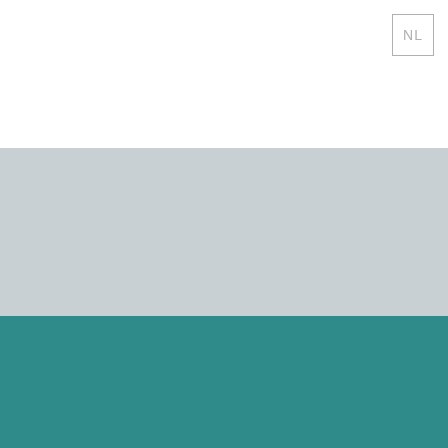NL
PROJECTS / NAUTIC GENERATION 28
NAUTIC GENERATION 28
A trendy open weekend cruiser
Yes, I understand
This website uses cookies, to optimize the user experience and our service. Detailed information, you will find in our Privacy Statement.